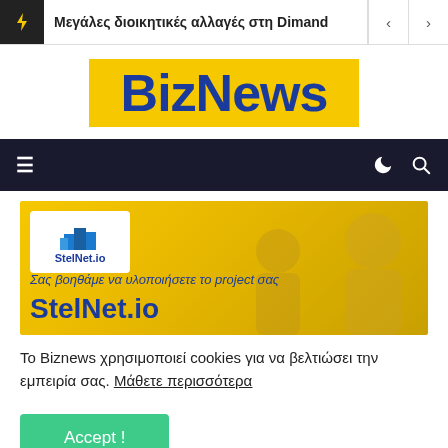Μεγάλες διοικητικές αλλαγές στη Dimand
[Figure (logo): BizNews logo — bold blue text on yellow background]
[Figure (screenshot): Dark navigation bar with hamburger menu, moon icon, and search icon]
[Figure (infographic): StelNet.io advertisement banner with yellow background, company logo, tagline in Greek, and brand name]
Το Biznews χρησιμοποιεί cookies για να βελτιώσει την εμπειρία σας. Μάθετε περισσότερα
Accept !